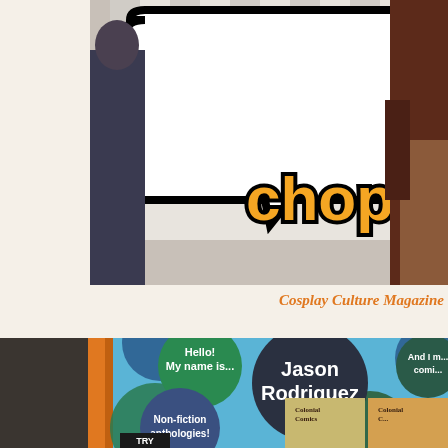[Figure (photo): Top cropped photo showing a comic-style banner/backdrop with the word 'chop' in orange outlined letters, a checkered pattern background, and a person in a brown shirt visible on the right side. Another person is visible on the left.]
Cosplay Culture Magazine
[Figure (photo): Bottom image showing a convention display for Jason Rodriguez featuring a blue polka-dot background with colored circles/bubbles. Text bubbles read 'Hello! My name is... Jason Rodriguez' and 'And I m... comi...' and 'Non-fiction anthologies!' with book covers for 'Colonial Comics' visible. An orange pole is visible on the left. At the bottom a 'TRY' sign is partially visible.]